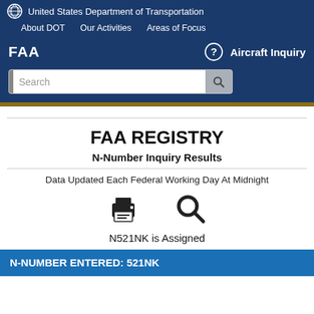United States Department of Transportation
About DOT   Our Activities   Areas of Focus
FAA   Aircraft Inquiry
FAA REGISTRY
N-Number Inquiry Results
Data Updated Each Federal Working Day At Midnight
N521NK is Assigned
N-NUMBER ENTERED: 521NK